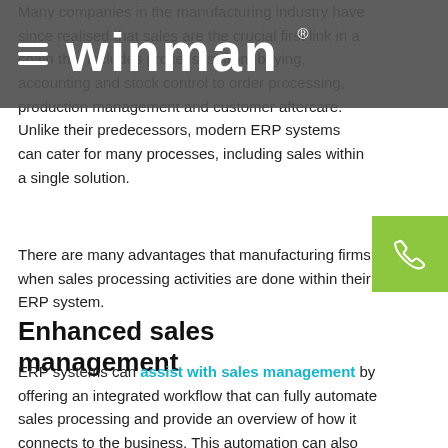Many companies in the manufacturing industry have since realised that sales are the crucial first link in a chain that includes processes, from buying, accounting and stock control to order processing, production management and customer aftercare. Unlike their predecessors, modern ERP systems can cater for many processes, including sales within a single solution.
There are many advantages that manufacturing firms when sales processing activities are done within their ERP system.
Enhanced sales management
ERP systems can assist with sales management by offering an integrated workflow that can fully automate sales processing and provide an overview of how it connects to the business. This automation can also enable more accurate lead times, improve demand forecasting and eliminate delays while